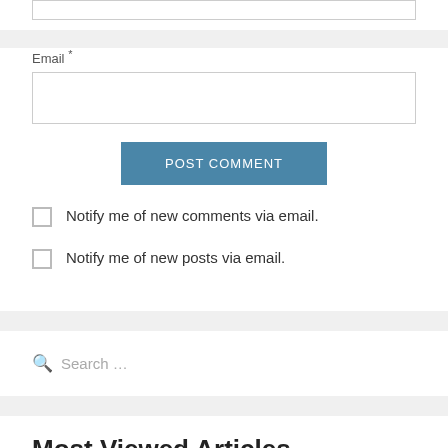Email *
POST COMMENT
Notify me of new comments via email.
Notify me of new posts via email.
Search …
Most Viewed Articles